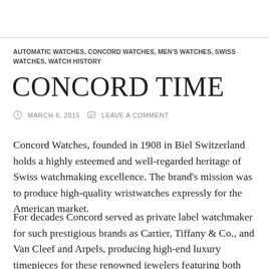AUTOMATIC WATCHES, CONCORD WATCHES, MEN'S WATCHES, SWISS WATCHES, WATCH HISTORY
CONCORD TIME
MARCH 6, 2015   LEAVE A COMMENT
Concord Watches, founded in 1908 in Biel Switzerland holds a highly esteemed and well-regarded heritage of Swiss watchmaking excellence. The brand's mission was to produce high-quality wristwatches expressly for the American market.
For decades Concord served as private label watchmaker for such prestigious brands as Cartier, Tiffany & Co., and Van Cleef and Arpels, producing high-end luxury timepieces for these renowned jewelers featuring both precious metals and